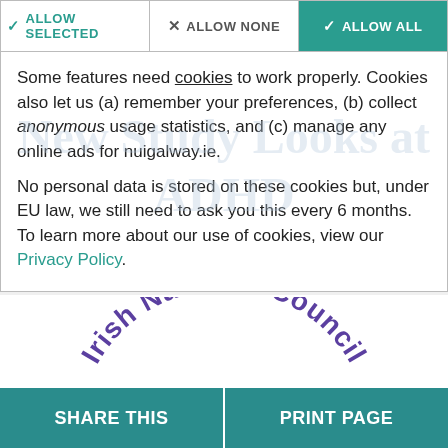ALLOW SELECTED | ALLOW NONE | ALLOW ALL
Some features need cookies to work properly. Cookies also let us (a) remember your preferences, (b) collect anonymous usage statistics, and (c) manage any online ads for nuigalway.ie.
No personal data is stored on these cookies but, under EU law, we still need to ask you this every 6 months. To learn more about our use of cookies, view our Privacy Policy.
[Figure (logo): Irish National Council logo text curved in an arc, purple text on white background]
SHARE THIS
PRINT PAGE